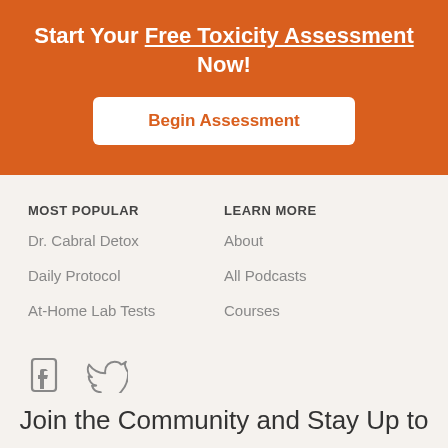Start Your Free Toxicity Assessment Now!
Begin Assessment
MOST POPULAR
LEARN MORE
Dr. Cabral Detox
About
Daily Protocol
All Podcasts
At-Home Lab Tests
Courses
[Figure (illustration): Facebook and Twitter social media icons]
Join the Community and Stay Up to